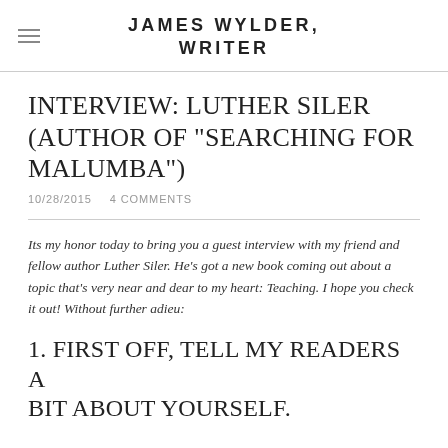JAMES WYLDER, WRITER
INTERVIEW: LUTHER SILER (AUTHOR OF "SEARCHING FOR MALUMBA")
10/28/2015    4 COMMENTS
Its my honor today to bring you a guest interview with my friend and fellow author Luther Siler. He's got a new book coming out about a topic that's very near and dear to my heart: Teaching. I hope you check it out! Without further adieu:
1. FIRST OFF, TELL MY READERS A BIT ABOUT YOURSELF.